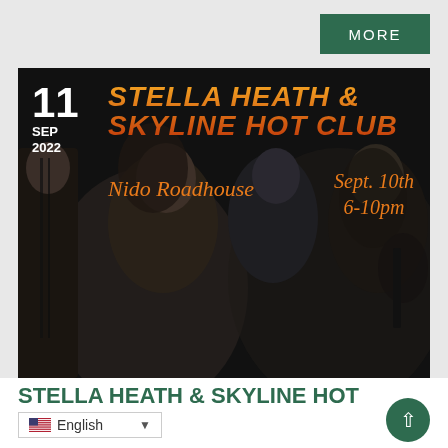MORE
[Figure (photo): Concert promotional poster for Stella Heath & Skyline Hot Club at Nido Roadhouse, Sept. 10th 6-10pm. Black and white photo of musicians including a female vocalist with curly hair, a male saxophonist, and a male guitarist with long hair and beard. Orange/gold text overlay with event details. Date badge shows 11 SEP 2022.]
STELLA HEATH & SKYLINE HOT
English